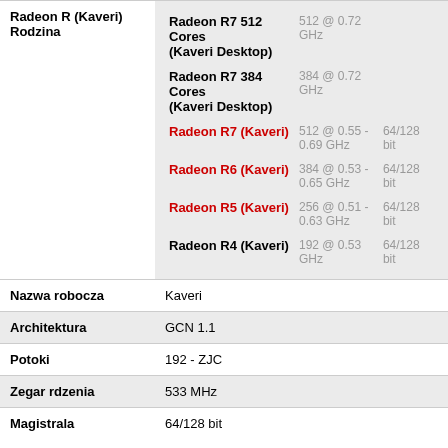| Property | Model | Specs | Bus |
| --- | --- | --- | --- |
| Radeon R (Kaveri) Rodzina | Radeon R7 512 Cores (Kaveri Desktop) | 512 @ 0.72 GHz |  |
|  | Radeon R7 384 Cores (Kaveri Desktop) | 384 @ 0.72 GHz |  |
|  | Radeon R7 (Kaveri) | 512 @ 0.55 - 0.69 GHz | 64/128 bit |
|  | Radeon R6 (Kaveri) | 384 @ 0.53 - 0.65 GHz | 64/128 bit |
|  | Radeon R5 (Kaveri) | 256 @ 0.51 - 0.63 GHz | 64/128 bit |
|  | Radeon R4 (Kaveri) | 192 @ 0.53 GHz | 64/128 bit |
| Nazwa robocza | Kaveri |  |  |
| Architektura | GCN 1.1 |  |  |
| Potoki | 192 - ZJC |  |  |
| Zegar rdzenia | 533 MHz |  |  |
| Magistrala | 64/128 bit |  |  |